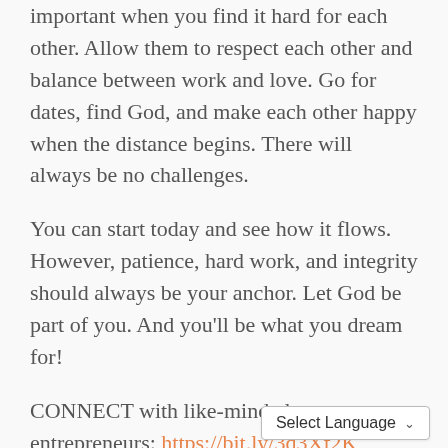important when you find it hard for each other. Allow them to respect each other and balance between work and love. Go for dates, find God, and make each other happy when the distance begins. There will always be no challenges.
You can start today and see how it flows. However, patience, hard work, and integrity should always be your anchor. Let God be part of you. And you'll be what you dream for!
CONNECT with like-minded entrepreneurs: https://bit.ly/3q3Xf2K
Register for EC Global Forum – Leadership: The Key to Scaling Your Business on 14th June 2022, 7 am-9 am PDT: https://nehemiahecommunity.com/event/ec-global-forum-jun22/